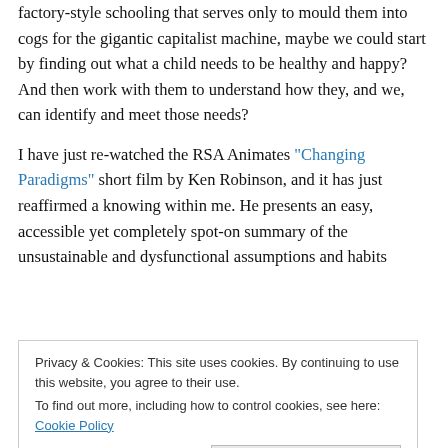factory-style schooling that serves only to mould them into cogs for the gigantic capitalist machine, maybe we could start by finding out what a child needs to be healthy and happy? And then work with them to understand how they, and we, can identify and meet those needs?
I have just re-watched the RSA Animates "Changing Paradigms" short film by Ken Robinson, and it has just reaffirmed a knowing within me. He presents an easy, accessible yet completely spot-on summary of the unsustainable and dysfunctional assumptions and habits
Privacy & Cookies: This site uses cookies. By continuing to use this website, you agree to their use. To find out more, including how to control cookies, see here: Cookie Policy
are all actually myths; in that they are all the product of a